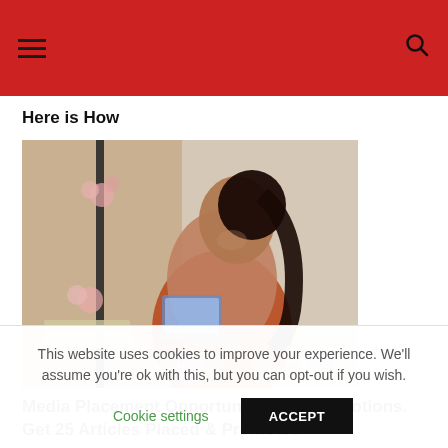Here is How
[Figure (photo): Woman in a red spaghetti-strap top smiling and looking back over her shoulder while working at a laptop, with pink floral decorations in the foreground]
Media Placement Opportunity With Promotions. Get 25 Articles Placed & Promoted
This website uses cookies to improve your experience. We'll assume you're ok with this, but you can opt-out if you wish.
Cookie settings   ACCEPT